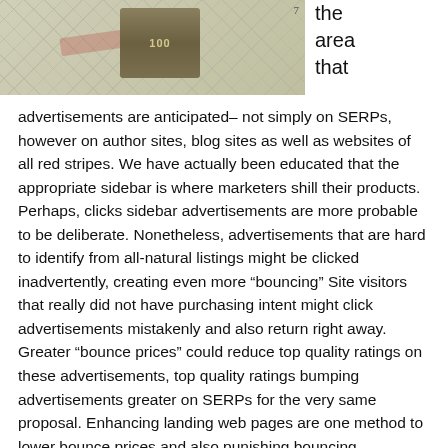[Figure (photo): Photograph of a US $100 dollar bill placed on a grid/graph paper background, with a red diagonal mark visible.]
the area that advertisements are anticipated– not simply on SERPs, however on author sites, blog sites as well as websites of all red stripes. We have actually been educated that the appropriate sidebar is where marketers shill their products. Perhaps, clicks sidebar advertisements are more probable to be deliberate. Nonetheless, advertisements that are hard to identify from all-natural listings might be clicked inadvertently, creating even more “bouncing” Site visitors that really did not have purchasing intent might click advertisements mistakenly and also return right away. Greater “bounce prices” could reduce top quality ratings on these advertisements, top quality ratings bumping advertisements greater on SERPs for the very same proposal. Enhancing landing web pages are one method to lower bounce prices and also punishing bouncing.